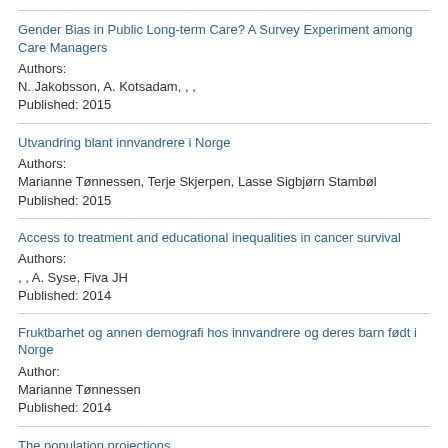Gender Bias in Public Long-term Care? A Survey Experiment among Care Managers
Authors:
N. Jakobsson,  A. Kotsadam,  ,  ,
Published: 2015
Utvandring blant innvandrere i Norge
Authors:
Marianne Tønnessen,  Terje Skjerpen,  Lasse Sigbjørn Stambøl
Published: 2015
Access to treatment and educational inequalities in cancer survival
Authors:
,  ,  A. Syse,  Fiva JH
Published: 2014
Fruktbarhet og annen demografi hos innvandrere og deres barn født i Norge
Author:
Marianne Tønnessen
Published: 2014
The population projections